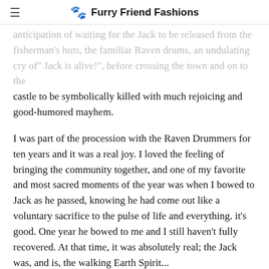Furry Friend Fashions
anticipation of waiting for the Jack to be released from the fisherman's huts, the familiar Raven drums, an undulating cry of "Jack is alive!", before crossing the town and on to the castle to be symbolically killed with much rejoicing and good-humored mayhem.
I was part of the procession with the Raven Drummers for ten years and it was a real joy. I loved the feeling of bringing the community together, and one of my favorite and most sacred moments of the year was when I bowed to Jack as he passed, knowing he had come out like a voluntary sacrifice to the pulse of life and everything. it's good. One year he bowed to me and I still haven't fully recovered. At that time, it was absolutely real; the Jack was, and is, the walking Earth Spirit...
... We live in a culture where the appeal is to celebrate pomp and war, rather than the life, traditions and resistance of ordinary people. The Hastings Jack, and others like him, are symbols of that resistance...